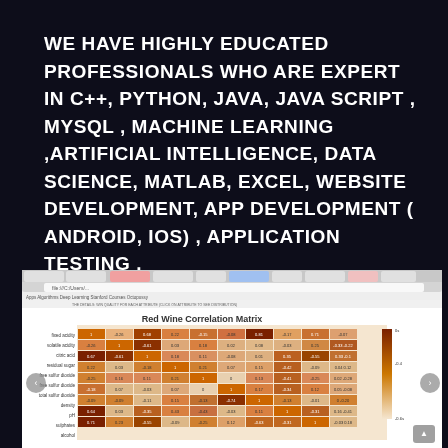WE HAVE HIGHLY EDUCATED PROFESSIONALS WHO ARE EXPERT IN C++, PYTHON, JAVA, JAVA SCRIPT , MYSQL , MACHINE LEARNING ,ARTIFICIAL INTELLIGENCE, DATA SCIENCE, MATLAB, EXCEL, WEBSITE DEVELOPMENT, APP DEVELOPMENT ( ANDROID, IOS) , APPLICATION TESTING .
[Figure (screenshot): Screenshot of a web browser showing a Red Wine Correlation Matrix heatmap. The matrix displays correlation values between various wine properties such as fixed acidity, volatile acidity, citric acid, residual sugar, free sulfur dioxide, total sulfur dioxide, density, pH, sulphates, and alcohol. Values range from negative to positive with color coding from dark brown (negative) to orange (positive).]